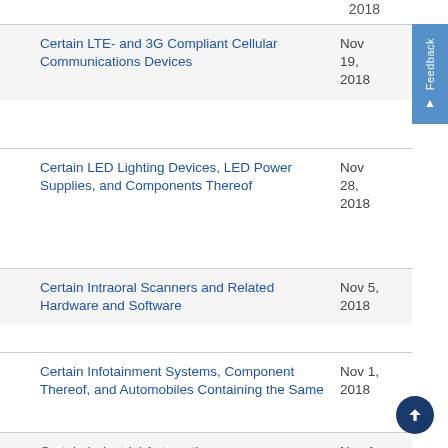2018
Certain LTE- and 3G Compliant Cellular Communications Devices — Nov 19, 2018
Certain LED Lighting Devices, LED Power Supplies, and Components Thereof — Nov 28, 2018
Certain Intraoral Scanners and Related Hardware and Software — Nov 5, 2018
Certain Infotainment Systems, Component Thereof, and Automobiles Containing the Same — Nov 1, 2018
Certain Industrial Automation Systems and Components Thereof — Nov 1, 2018